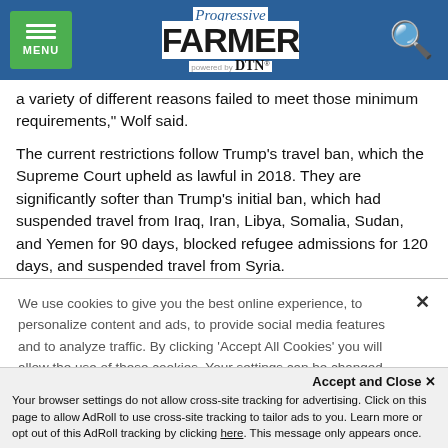Progressive Farmer powered by DTN — MENU header with search icon
a variety of different reasons failed to meet those minimum requirements," Wolf said.
The current restrictions follow Trump's travel ban, which the Supreme Court upheld as lawful in 2018. They are significantly softer than Trump's initial ban, which had suspended travel from Iraq, Iran, Libya, Somalia, Sudan, and Yemen for 90 days, blocked refugee admissions for 120 days, and suspended travel from Syria.
We use cookies to give you the best online experience, to personalize content and ads, to provide social media features and to analyze traffic. By clicking 'Accept All Cookies' you will allow the use of these cookies. Your settings can be changed, including withdrawing your consent at any time, by clicking 'Cookie Settings'. Find out more on how we and third parties use cookies in our  Cookie Policy
Accept and Close ✕
Your browser settings do not allow cross-site tracking for advertising. Click on this page to allow AdRoll to use cross-site tracking to tailor ads to you. Learn more or opt out of this AdRoll tracking by clicking here. This message only appears once.